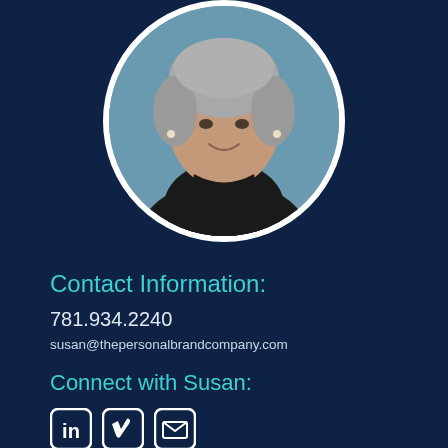[Figure (photo): Circular framed headshot of a woman with short gray hair wearing a black top, on a blue-gray background, with white circular border]
Contact Information:
781.934.2240
susan@thepersonalbrandcompany.com
Connect with Susan:
[Figure (infographic): Three social media icons: LinkedIn, Vimeo, and Email (envelope), each in a rounded square outline]